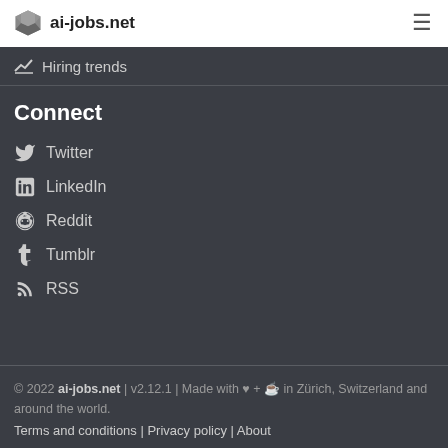ai-jobs.net
Hiring trends
Connect
Twitter
LinkedIn
Reddit
Tumblr
RSS
© 2022 ai-jobs.net | v2.12.1 | Made with ♥ + ☕ in Zürich, Switzerland and around the world. Terms and conditions | Privacy policy | About